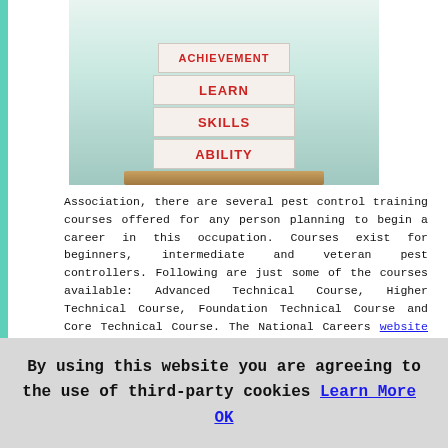[Figure (photo): Stack of books labeled LEARN, SKILLS, ABILITY on a wooden shelf against a teal/green background]
Association, there are several pest control training courses offered for any person planning to begin a career in this occupation. Courses exist for beginners, intermediate and veteran pest controllers. Following are just some of the courses available: Advanced Technical Course, Higher Technical Course, Foundation Technical Course and Core Technical Course. The National Careers website is a resource for information about becoming a pest control technician. You'll find out how to get a trainee pest control position in Jedburgh, career prospects and pathways for pest control technicians in Jedburgh, what skills are essential to be a pest controller in Jedburgh, what wages you can expect to earn as a pest control technician, how to become a pest controller in Jedburgh, working environments, restrictions and requirements and existing pest control technician opportunities in the Jedburgh area, if you take a look there.
By using this website you are agreeing to the use of third-party cookies Learn More OK